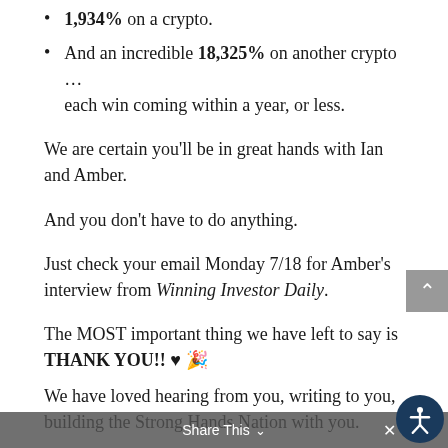1,934% on a crypto.
And an incredible 18,325% on another crypto ... each win coming within a year, or less.
We are certain you'll be in great hands with Ian and Amber.
And you don't have to do anything.
Just check your email Monday 7/18 for Amber's interview from Winning Investor Daily.
The MOST important thing we have left to say is THANK YOU!! 🖤🎉
We have loved hearing from you, writing to you, building the Strong Hands Nation with you.